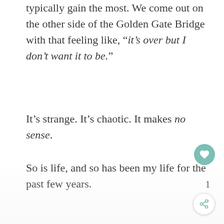typically gain the most. We come out on the other side of the Golden Gate Bridge with that feeling like, “it’s over but I don’t want it to be.”
It’s strange. It’s chaotic. It makes no sense.
So is life, and so has been my life for the past few years.
1